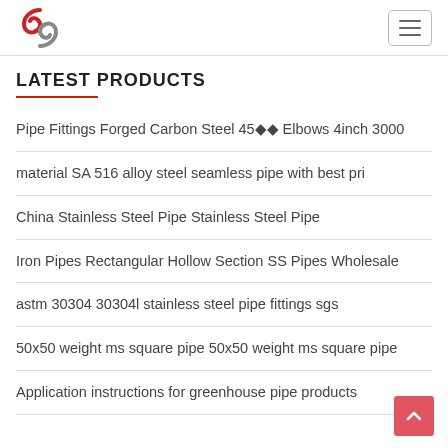LATEST PRODUCTS
Pipe Fittings Forged Carbon Steel 45°° Elbows 4inch 3000
material SA 516 alloy steel seamless pipe with best pri
China Stainless Steel Pipe Stainless Steel Pipe
Iron Pipes Rectangular Hollow Section SS Pipes Wholesale
astm 30304 30304l stainless steel pipe fittings sgs
50x50 weight ms square pipe 50x50 weight ms square pipe
Application instructions for greenhouse pipe products